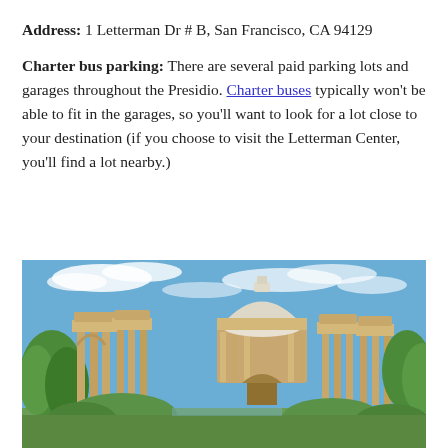Address: 1 Letterman Dr # B, San Francisco, CA 94129
Charter bus parking: There are several paid parking lots and garages throughout the Presidio. Charter buses typically won't be able to fit in the garages, so you'll want to look for a lot close to your destination (if you choose to visit the Letterman Center, you'll find a lot nearby.)
[Figure (photo): Photograph of the Palace of Fine Arts in San Francisco showing the rotunda and colonnades with trees and blue sky]